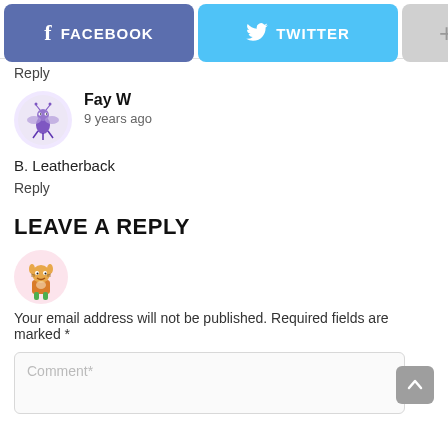[Figure (screenshot): Social share buttons: Facebook (blue-purple), Twitter (light blue), and a plus/more button (gray)]
Reply
[Figure (illustration): Circular avatar with cartoon fly/bug character on light purple background]
Fay W
9 years ago
B. Leatherback
Reply
LEAVE A REPLY
[Figure (illustration): Circular avatar with cartoon orange/brown character on light pink background]
Your email address will not be published. Required fields are marked *
Comment*